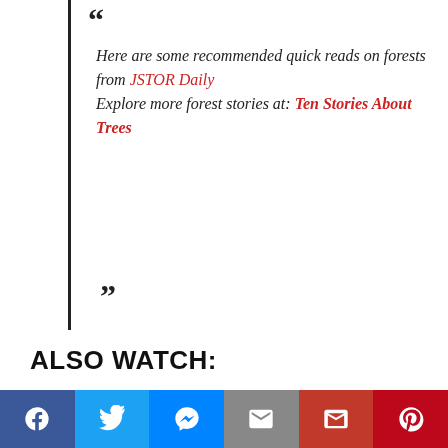Here are some recommended quick reads on forests from JSTOR Daily Explore more forest stories at: Ten Stories About Trees
ALSO WATCH:
Help Save The Environment! Engage in Waste Management Best Practices & Advocacy